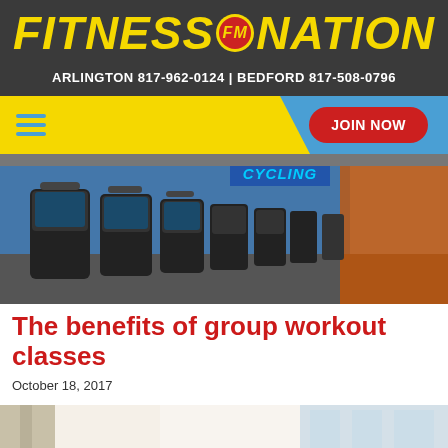[Figure (logo): Fitness Nation logo with yellow italic text and red FM circle emblem on dark gray background]
ARLINGTON 817-962-0124 | BEDFORD 817-508-0796
[Figure (screenshot): Navigation bar with yellow and blue background, hamburger menu on left, JOIN NOW red button on right]
[Figure (photo): Gym interior photo showing rows of treadmills/cycling equipment with CYCLING sign and orange/blue wall]
The benefits of group workout classes
October 18, 2017
[Figure (photo): Bottom portion of gym interior photo showing bright open space]